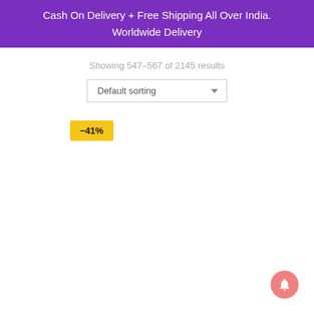Cash On Delivery + Free Shipping All Over India.
Worldwide Delivery
Showing 547–567 of 2145 results
Default sorting
-41%